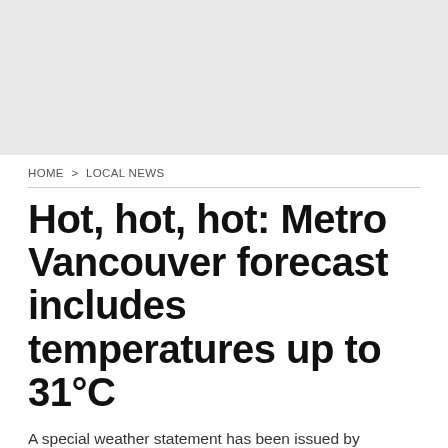[Figure (other): Gray advertisement banner placeholder at top of page]
HOME > LOCAL NEWS
Hot, hot, hot: Metro Vancouver forecast includes temperatures up to 31°C
A special weather statement has been issued by Environment Canada.